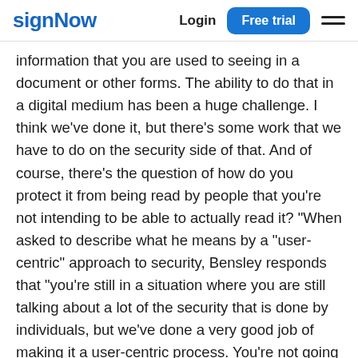signNow | Login | Free trial
information that you are used to seeing in a document or other forms. The ability to do that in a digital medium has been a huge challenge. I think we've done it, but there's some work that we have to do on the security side of that. And of course, there's the question of how do you protect it from being read by people that you're not intending to be able to actually read it? "When asked to describe what he means by a "user-centric" approach to security, Bensley responds that "you're still in a situation where you are still talking about a lot of the security that is done by individuals, but we've done a very good job of making it a user-centric process. You're not going to be able to create a document or something on your own that you can give to an individual. You can't just open and copy over and then give it to somebody else. You still have to do the